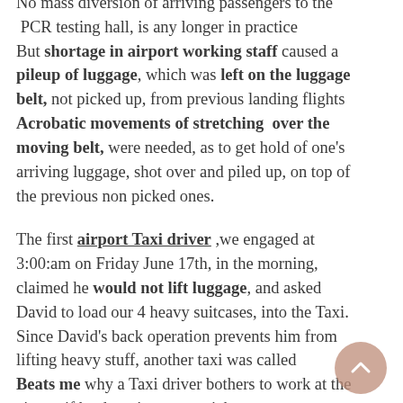No mass diversion of arriving passengers to the PCR testing hall, is any longer in practice
But shortage in airport working staff caused a pileup of luggage, which was left on the luggage belt, not picked up, from previous landing flights
Acrobatic movements of stretching over the moving belt, were needed, as to get hold of one's arriving luggage, shot over and piled up, on top of the previous non picked ones.
The first airport Taxi driver ,we engaged at 3:00:am on Friday June 17th, in the morning, claimed he would not lift luggage, and asked David to load our 4 heavy suitcases, into the Taxi. Since David's back operation prevents him from lifting heavy stuff, another taxi was called
Beats me why a Taxi driver bothers to work at the airport if he doesn't want to pick- up